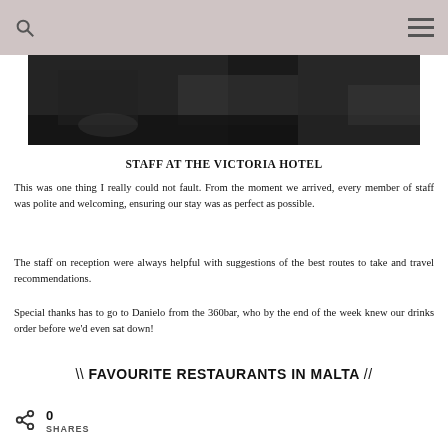[Figure (photo): Dark overhead photo showing what appears to be a vehicle or street scene at night]
STAFF AT THE VICTORIA HOTEL
This was one thing I really could not fault. From the moment we arrived, every member of staff was polite and welcoming, ensuring our stay was as perfect as possible.
The staff on reception were always helpful with suggestions of the best routes to take and travel recommendations.
Special thanks has to go to Danielo from the 360bar, who by the end of the week knew our drinks order before we'd even sat down!
\\ FAVOURITE RESTAURANTS IN MALTA //
0 SHARES